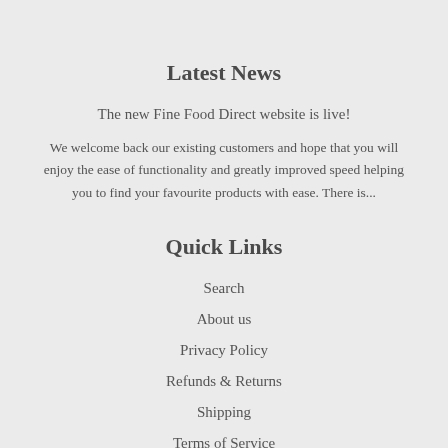Latest News
The new Fine Food Direct website is live!
We welcome back our existing customers and hope that you will enjoy the ease of functionality and greatly improved speed helping you to find your favourite products with ease. There is...
Quick Links
Search
About us
Privacy Policy
Refunds & Returns
Shipping
Terms of Service